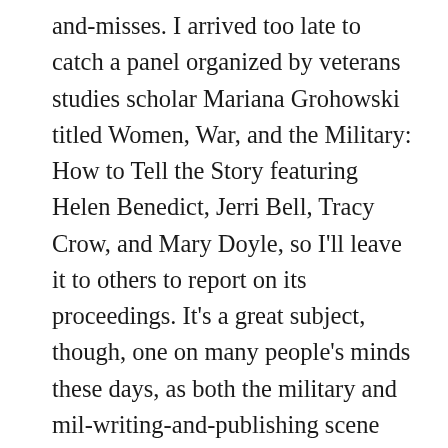and-misses. I arrived too late to catch a panel organized by veterans studies scholar Mariana Grohowski titled Women, War, and the Military: How to Tell the Story featuring Helen Benedict, Jerri Bell, Tracy Crow, and Mary Doyle, so I'll leave it to others to report on its proceedings. It's a great subject, though, one on many people's minds these days, as both the military and mil-writing-and-publishing scene confront a variety of gender-related problems. MIA at this year's AWP unfortunately were the authors of several notable 2017 war novels, such as David Abrams, Brian Van Reet, Elliot Ackerman, and Siobhan Fallon, so we weren't able to hear their thoughts about their recent books and their reception. The online